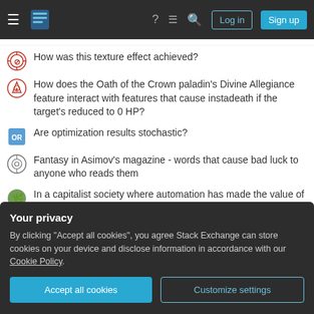Stack Exchange navigation bar with Log in and Sign up buttons
How was this texture effect achieved?
How does the Oath of the Crown paladin's Divine Allegiance feature interact with features that cause instadeath if the target's reduced to 0 HP?
Are optimization results stochastic?
Fantasy in Asimov's magazine - words that cause bad luck to anyone who reads them
In a capitalist society where automation has made the value of human labour worthless. What would keep the rich form just killing off the poor?
Undesired spaces in mathematics two column paper
Your privacy
By clicking "Accept all cookies", you agree Stack Exchange can store cookies on your device and disclose information in accordance with our Cookie Policy.
Accept all cookies | Customize settings